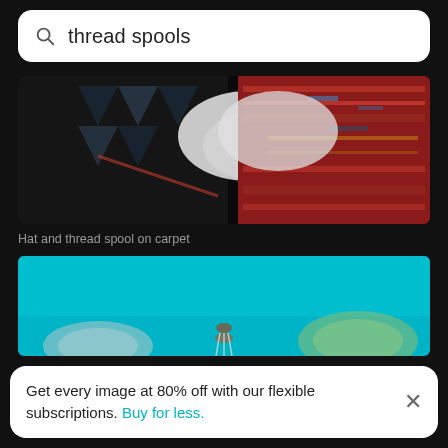thread spools
[Figure (photo): Hat and thread spool on a colorful carpet, dark background]
Hat and thread spool on carpet
[Figure (photo): Thread spool needle against a bright turquoise/teal background with blurred colorful spools]
Get every image at 80% off with our flexible subscriptions. Buy for less.